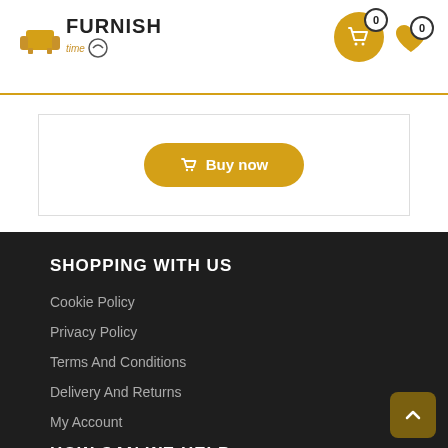FURNISH time — e-commerce header with cart (0) and wishlist (0)
[Figure (screenshot): Buy now button inside a bordered box]
SHOPPING WITH US
Cookie Policy
Privacy Policy
Terms And Conditions
Delivery And Returns
My Account
HOW CAN WE HELP
FAQ